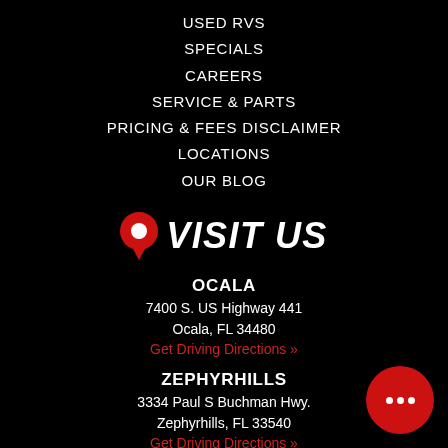USED RVS
SPECIALS
CAREERS
SERVICE & PARTS
PRICING & FEES DISCLAIMER
LOCATIONS
OUR BLOG
VISIT US
OCALA
7400 S. US Highway 441
Ocala, FL 34480
Get Driving Directions »
ZEPHYRHILLS
3334 Paul S Buchman Hwy.
Zephyrhills, FL 33540
Get Driving Directions »